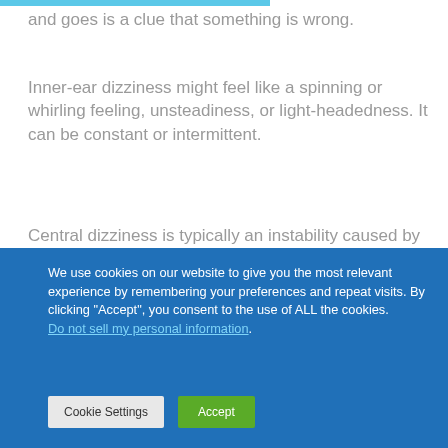and goes is a clue that something is wrong.
Inner-ear dizziness might feel like a spinning or whirling feeling, unsteadiness, or light-headedness. It can be constant or intermittent.
Central dizziness is typically an instability caused by the brain’s failure to effectively interpret or coordinate the nerve impulses it receives.
[Figure (screenshot): Light blue banner with Medical Matters logo (red circular icon with letters MM) and title text 'Medical Matters']
We use cookies on our website to give you the most relevant experience by remembering your preferences and repeat visits. By clicking “Accept”, you consent to the use of ALL the cookies. Do not sell my personal information. [Cookie Settings] [Accept]